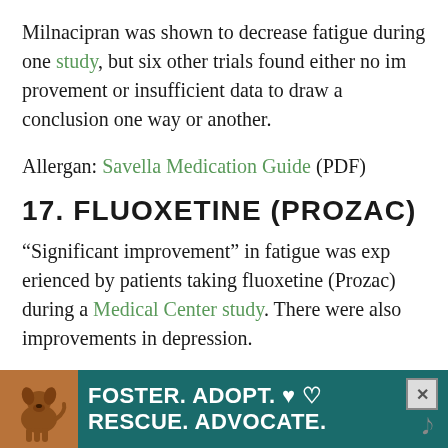Milnacipran was shown to decrease fatigue during one study, but six other trials found either no improvement or insufficient data to draw a conclusion one way or another.
Allergan: Savella Medication Guide (PDF)
17. FLUOXETINE (PROZAC)
“Significant improvement” in fatigue was experienced by patients taking fluoxetine (Prozac) during a Medical Center study. There were also improvements in depression.
[Figure (other): Advertisement banner: dog photo with teal background, text 'FOSTER. ADOPT. RESCUE. ADVOCATE.' with heart symbols, close button and sound icon]